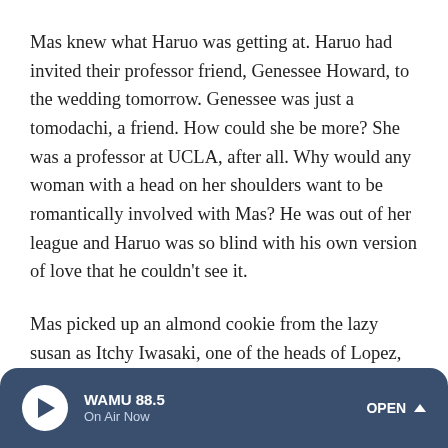Mas knew what Haruo was getting at. Haruo had invited their professor friend, Genessee Howard, to the wedding tomorrow. Genessee was just a tomodachi, a friend. How could she be more? She was a professor at UCLA, after all. Why would any woman with a head on her shoulders want to be romantically involved with Mas? He was out of her league and Haruo was so blind with his own version of love that he couldn't see it.
Mas picked up an almond cookie from the lazy susan as Itchy Iwasaki, one of the heads of Lopez, Sing, and Iwasaki Mortuary in Lincoln Heights, approached their table. Mas wasn't quite sure why he was there -- this event was for the living (well, at least barely), not the dead -- but Mas
WAMU 88.5 · On Air Now · OPEN